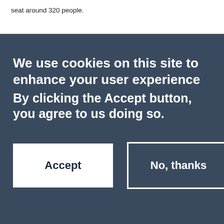seat around 320 people.
We use cookies on this site to enhance your user experience
By clicking the Accept button, you agree to us doing so.
Accept
No, thanks